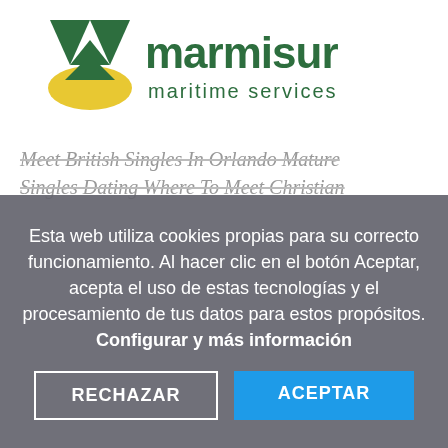[Figure (logo): Marmisur Maritime Services logo — green stylized M with yellow hill accent and green text 'marmisur maritime services']
Meet British Singles In Orlando Mature Singles Dating Where To Meet Christian
Esta web utiliza cookies propias para su correcto funcionamiento. Al hacer clic en el botón Aceptar, acepta el uso de estas tecnologías y el procesamiento de tus datos para estos propósitos. Configurar y más información
RECHAZAR
ACEPTAR